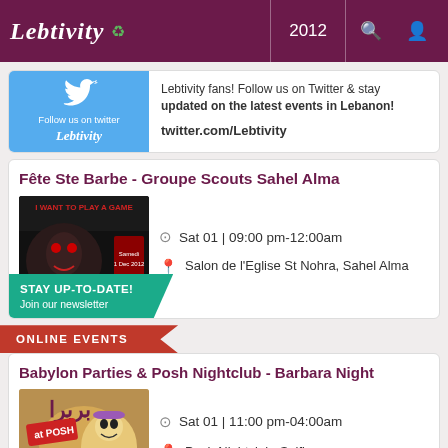Lebtivity 2012
[Figure (screenshot): Twitter follow banner with Lebtivity logo on blue background]
Lebtivity fans! Follow us on Twitter & stay updated on the latest events in Lebanon!
twitter.com/Lebtivity
Fête Ste Barbe - Groupe Scouts Sahel Alma
[Figure (photo): Dark event poster with horror theme text 'I WANT TO PLAY A GAME']
Sat 01 | 09:00 pm-12:00am
Salon de l'Eglise St Nohra, Sahel Alma
STAY UP-TO-DATE! Join our newsletter
ONLINE EVENTS
Babylon Parties & Posh Nightclub - Barbara Night
[Figure (photo): Babylon at Posh event poster with colorful masked figure]
Sat 01 | 11:00 pm-04:00am
Posh Nightclub, Saifi